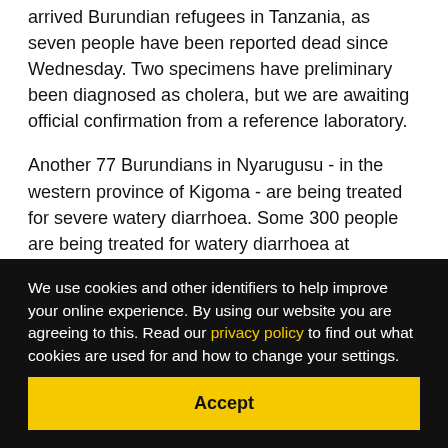arrived Burundian refugees in Tanzania, as seven people have been reported dead since Wednesday. Two specimens have preliminary been diagnosed as cholera, but we are awaiting official confirmation from a reference laboratory.
Another 77 Burundians in Nyarugusu - in the western province of Kigoma - are being treated for severe watery diarrhoea. Some 300 people are being treated for watery diarrhoea at Kagunga - near the Tanzanian border - and at the Stadium in Kigoma.
“UNHCR’s priority is to work with the Ministry of Health and international partners to prepare for the worst and quickly establish a cholera treatment centre in Kagunga,” said
We use cookies and other identifiers to help improve your online experience. By using our website you are agreeing to this. Read our privacy policy to find out what cookies are used for and how to change your settings.
Accept